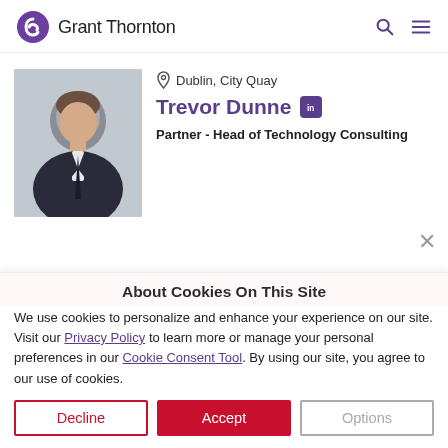Grant Thornton
Dublin, City Quay
Trevor Dunne
Partner - Head of Technology Consulting
About Cookies On This Site
We use cookies to personalize and enhance your experience on our site. Visit our Privacy Policy to learn more or manage your personal preferences in our Cookie Consent Tool. By using our site, you agree to our use of cookies.
Decline | Accept | Options